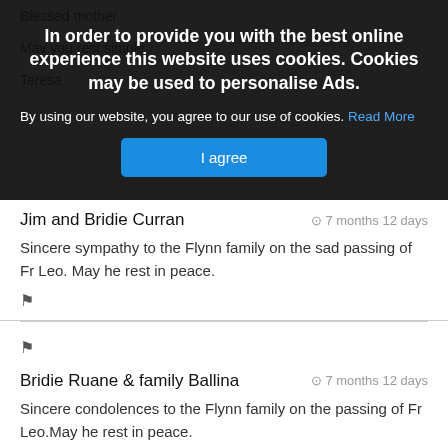Blessed mother
May you rest simple
Teresa
In order to provide you with the best online experience this website uses cookies. Cookies may be used to personalise Ads.
By using our website, you agree to our use of cookies. Read More
I agree
Jim and Bridie Curran
7 months 12 days
Sincere sympathy to the Flynn family on the sad passing of Fr Leo. May he rest in peace.
Bridie Ruane & family Ballina
7 months 12 days
Sincere condolences to the Flynn family on the passing of Fr Leo.May he rest in peace.